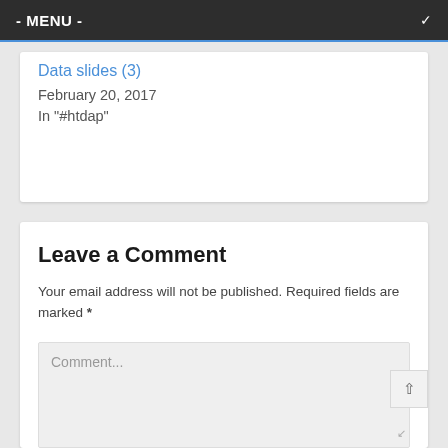- MENU -
Data slides (3)
February 20, 2017
In "#htdap"
Leave a Comment
Your email address will not be published. Required fields are marked *
Comment...